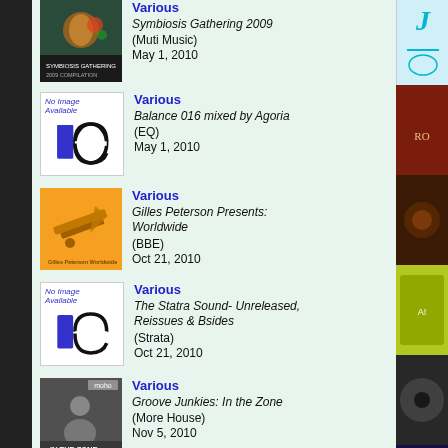Various - Symbiosis Gathering 2009 (Muti Music) May 1, 2010
Various - Balance 016 mixed by Agoria (EQ) May 1, 2010
Various - Gilles Peterson Presents: Worldwide (BBE) Oct 21, 2010
Various - The Statra Sound- Unreleased, Reissues & Bsides (Strata) Oct 21, 2010
Various - Groove Junkies: In the Zone (More House) Nov 5, 2010
Various - Henry Street Grooves ...